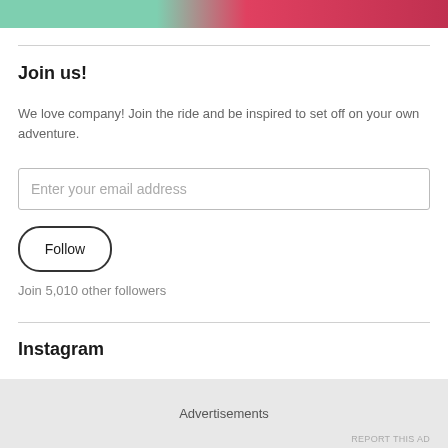[Figure (photo): Top portion of a photo showing people in colorful clothing (turquoise and red/floral patterns)]
Join us!
We love company! Join the ride and be inspired to set off on your own adventure.
Enter your email address
Follow
Join 5,010 other followers
Instagram
Advertisements
REPORT THIS AD